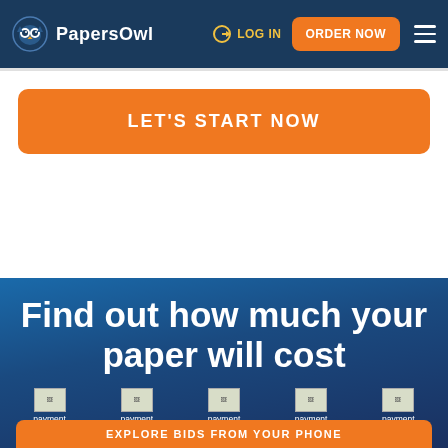PapersOwl | LOG IN | ORDER NOW
LET'S START NOW
Find out how much your paper will cost
[Figure (illustration): Row of five payment icons (broken images labeled 'payment icon') on dark blue background]
EXPLORE BIDS FROM YOUR PHONE